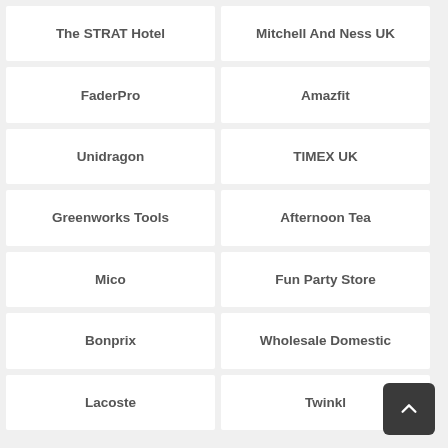The STRAT Hotel
Mitchell And Ness UK
FaderPro
Amazfit
Unidragon
TIMEX UK
Greenworks Tools
Afternoon Tea
Mico
Fun Party Store
Bonprix
Wholesale Domestic
Lacoste
Twinkl